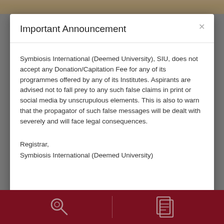Important Announcement
Symbiosis International (Deemed University), SIU, does not accept any Donation/Capitation Fee for any of its programmes offered by any of its Institutes. Aspirants are advised not to fall prey to any such false claims in print or social media by unscrupulous elements. This is also to warn that the propagator of such false messages will be dealt with severely and will face legal consequences.
Registrar,
Symbiosis International (Deemed University)